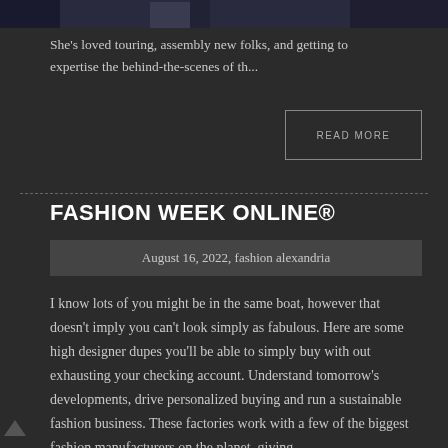[Figure (photo): Partial view of a dark fashion/event photo at the top of the page]
She’s loved touring, assembly new folks, and getting to expertise the behind-the-scenes of th...
READ MORE
FASHION WEEK ONLINE®
August 16, 2022, fashion alexandria
I know lots of you might be in the same boat, however that doesn’t imply you can’t look simply as fabulous. Here are some high designer dupes you’ll be able to simply buy with out exhausting your checking account. Understand tomorrow’s developments, drive personalized buying and run a sustainable fashion business. These factories work with a few of the biggest fashion manufacturers on the planet, giving